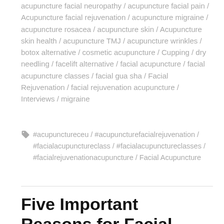acupuncture facial neuropathy / acupuncture facial pain / Acupuncture facial rejuvenation / acupuncture migraine / acupuncture rosacea / acupuncture skin / Acupuncture skin health / acupuncture TMJ / acupuncture wrinkles / botox alternative / cosmetic acupuncture / Cupping / dry needling / facelift alternative / facial acupuncture / facial acupuncture classes / facial gua sha / Facial Rejuvenation / facial rejuvenation acupuncture / Interviews / migraine
#acupunctureceu / #acupuncturefacialrejuvenation / #facialacupunctureclass / #facialacupunctureclasses / #facialrejuvenationacupuncture / Facial Acupuncture
Five Important Reasons for Facial Acupuncture CEU